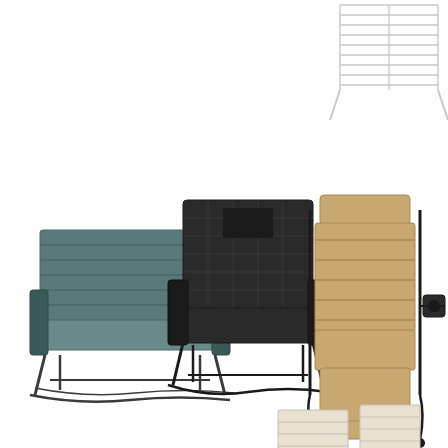[Figure (photo): Product catalog page showing outdoor patio furniture. Top right: partial view of a white wire shelf/rack. Center: three outdoor chairs side by side - left is a blue/grey double glider bench with metal frame, center is a single black mesh glider chair with dark metal frame, right is a beige/tan zero gravity recliner lounge chair with black metal frame and side cup holder tray. Bottom right corner: partial view of white Adirondack-style chairs.]